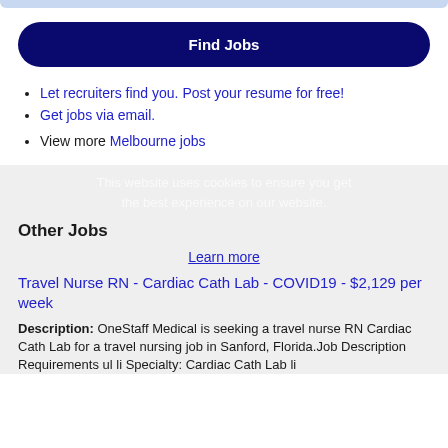[Figure (other): Top decorative bar element, light blue rounded strip]
Find Jobs
Let recruiters find you. Post your resume for free!
Get jobs via email.
View more Melbourne jobs
This website uses cookies to ensure you get the best experience on our website.
Other Jobs
Learn more
Travel Nurse RN - Cardiac Cath Lab - COVID19 - $2,129 per week
Description: OneStaff Medical is seeking a travel nurse RN Cardiac Cath Lab for a travel nursing job in Sanford, Florida.Job Description Requirements ul li Specialty: Cardiac Cath Lab li